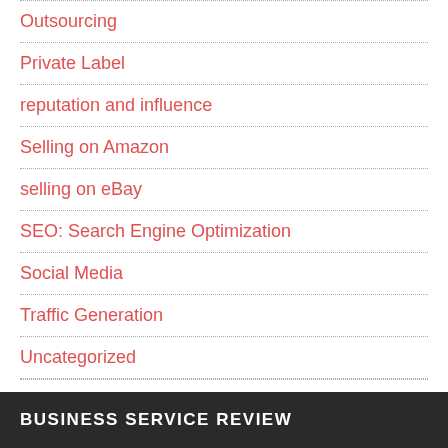Outsourcing
Private Label
reputation and influence
Selling on Amazon
selling on eBay
SEO: Search Engine Optimization
Social Media
Traffic Generation
Uncategorized
BUSINESS SERVICE REVIEW